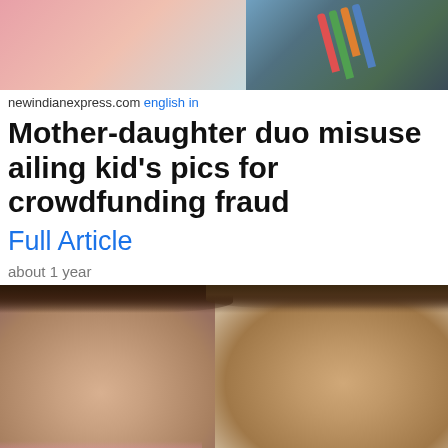[Figure (photo): Top portion of a photo showing a person in pink clothing on the left side and makeup brushes/art supplies on the right side with teal and green colors]
newindianexpress.com english in
Mother-daughter duo misuse ailing kid's pics for crowdfunding fraud
Full Article
about 1 year
[Figure (photo): Photo of two young women with long brown wavy hair posing together. The woman on the left wears pink and has gold hoop earrings. The woman on the right has colorful blue and pink eye makeup. Floral pink background.]
philstar.com english ph